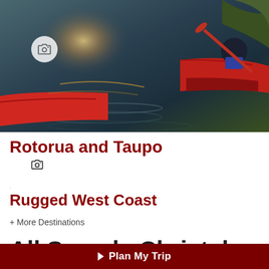[Figure (photo): Kayakers on water at sunset/dusk, two red kayaks visible, person paddling with red paddle, glowing light on water surface]
Rotorua and Taupo
Rugged West Coast
+ More Destinations
All Sample Christchurch
▶ Plan My Trip